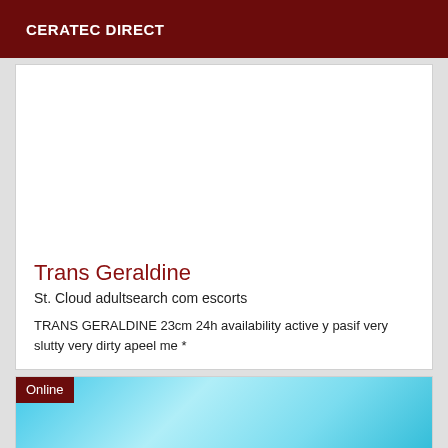CERATEC DIRECT
[Figure (photo): White/blank image area within a card]
Trans Geraldine
St. Cloud adultsearch com escorts
TRANS GERALDINE 23cm 24h availability active y pasif very slutty very dirty apeel me *
[Figure (photo): Cyan/blue gradient image area with an 'Online' badge in the top-left corner]